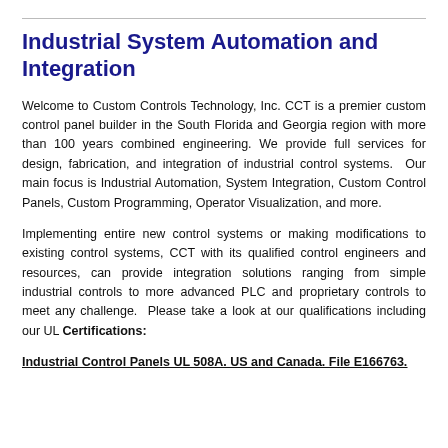Industrial System Automation and Integration
Welcome to Custom Controls Technology, Inc. CCT is a premier custom control panel builder in the South Florida and Georgia region with more than 100 years combined engineering. We provide full services for design, fabrication, and integration of industrial control systems. Our main focus is Industrial Automation, System Integration, Custom Control Panels, Custom Programming, Operator Visualization, and more.
Implementing entire new control systems or making modifications to existing control systems, CCT with its qualified control engineers and resources, can provide integration solutions ranging from simple industrial controls to more advanced PLC and proprietary controls to meet any challenge. Please take a look at our qualifications including our UL Certifications:
Industrial Control Panels UL 508A. US and Canada. File E166763.